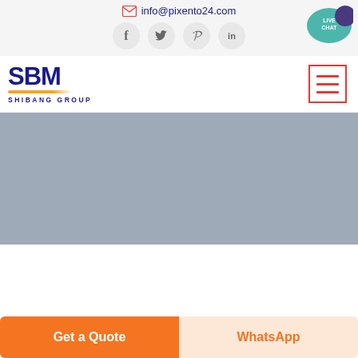info@pixento24.com
[Figure (screenshot): Social media icons: Facebook (f), Twitter (bird), Pinterest (p), LinkedIn (in) in circular grey buttons]
[Figure (illustration): Live Chat speech bubble icon in teal/purple on the right side of header]
[Figure (logo): SBM Shibang Group logo — bold dark blue SBM letters with orange arc underline and SHIBANG GROUP text below]
[Figure (illustration): Hamburger menu icon — three red horizontal lines inside red bordered square]
[Figure (photo): Large grey/blue placeholder hero image area]
Get a Quote
WhatsApp